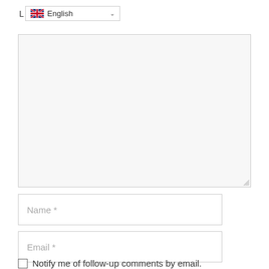[Figure (screenshot): Language selector dropdown showing UK flag and 'English' with a chevron]
[Figure (screenshot): Large empty comment textarea with resize handle at bottom right]
Name *
Email *
Notify me of follow-up comments by email.